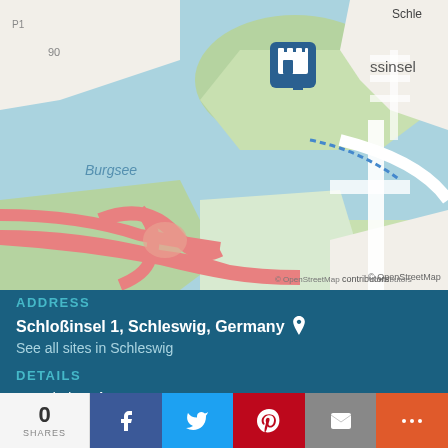[Figure (map): OpenStreetMap showing Schlossinsel area in Schleswig, Germany. Shows Burgsee lake, roads including Callisenstraße and Herrenstall, red highway interchange at bottom, green areas, and a castle/museum pin marker. Map label 'K1' visible, attribution to OpenStreetMap contributors.]
ADDRESS
Schloßinsel 1, Schleswig, Germany 📍
See all sites in Schleswig
DETAILS
Founded: 16th century
Category: Castles and fortifications in Germany
0 SHARES | Facebook | Twitter | Pinterest | Email | More